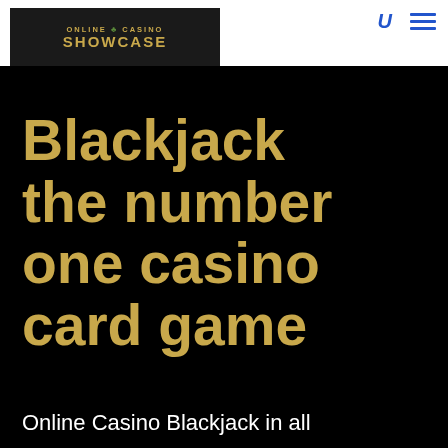[Figure (logo): Online Casino Showcase logo — dark background with gold text reading ONLINE CASINO SHOWCASE in bold uppercase letters]
Blackjack the number one casino card game
Online Casino Blackjack in all